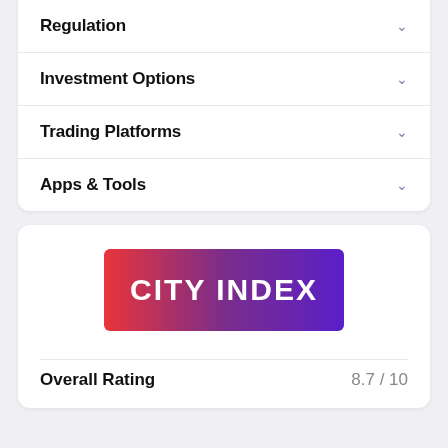Regulation
Investment Options
Trading Platforms
Apps & Tools
[Figure (logo): City Index logo — gradient background from red to purple, white bold text reading CITY INDEX]
Overall Rating    8.7 / 10